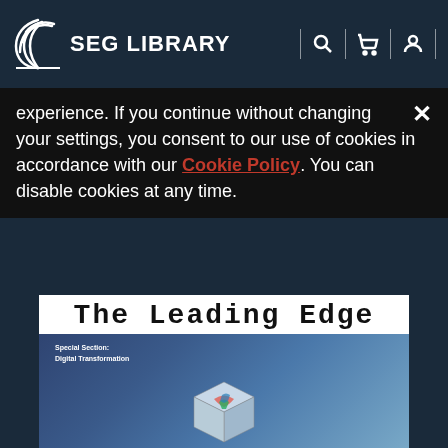SEG LIBRARY
experience. If you continue without changing your settings, you consent to our use of cookies in accordance with our Cookie Policy. You can disable cookies at any time.
[Figure (photo): Cover of The Leading Edge journal, Special Section on Digital Transformation, showing a 3D seismic cube visualization on a blue gradient background]